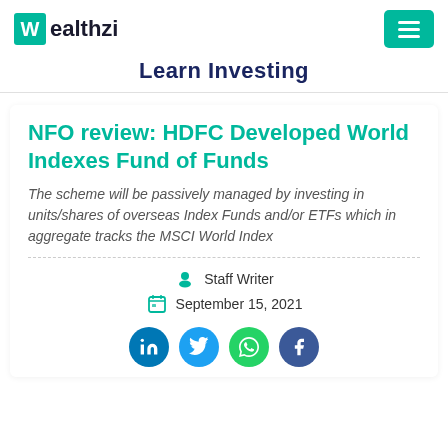Wealthzi
Learn Investing
NFO review: HDFC Developed World Indexes Fund of Funds
The scheme will be passively managed by investing in units/shares of overseas Index Funds and/or ETFs which in aggregate tracks the MSCI World Index
Staff Writer
September 15, 2021